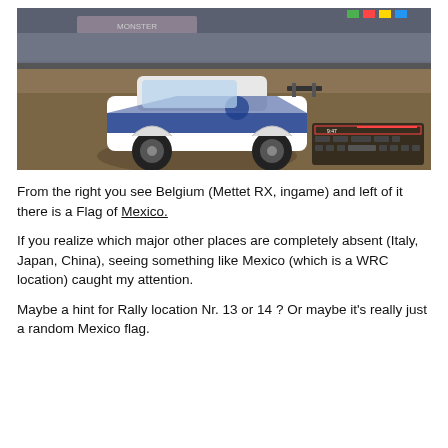[Figure (screenshot): A racing video game screenshot showing a rally car (Subaru, white/blue livery) on a track at what appears to be Mettet RX, Belgium. Grandstands with spectators visible in background. Game HUD visible in bottom right corner.]
From the right you see Belgium (Mettet RX, ingame) and left of it there is a Flag of Mexico.
If you realize which major other places are completely absent (Italy, Japan, China), seeing something like Mexico (which is a WRC location) caught my attention.
Maybe a hint for Rally location Nr. 13 or 14 ? Or maybe it's really just a random Mexico flag.